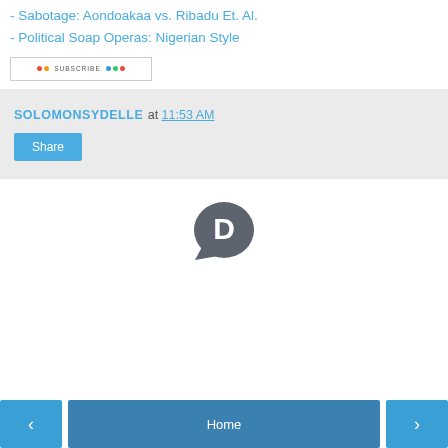- Sabotage: Aondoakaa vs. Ribadu Et. Al.
- Political Soap Operas: Nigerian Style
[Figure (other): Subscribe button/widget placeholder with colored dots and text]
SOLOMONSYDELLE at 11:53 AM
[Figure (logo): Disqus comment icon - dark grey speech bubble with letter D]
Home
< >